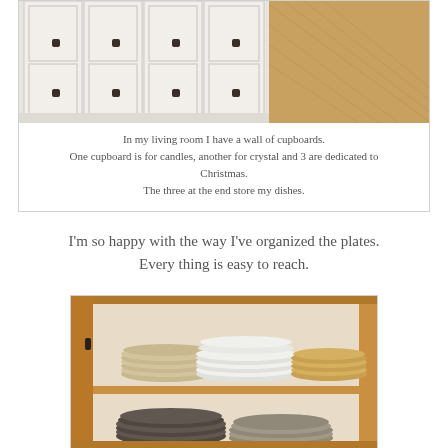[Figure (photo): A wall of white cupboards with black handles along a hallway with herringbone wood flooring visible on the right side.]
In my living room I have a wall of cupboards.
One cupboard is for candles, another for crystal and 3 are dedicated to Christmas.
The three at the end store my dishes.
I'm so happy with the way I've organized the plates.
Every thing is easy to reach.
[Figure (photo): An open wooden cabinet showing stacks of plates organized on two shelves — white plates and tan/gold plates on the upper shelf, and dark/metallic plates on the lower shelf.]